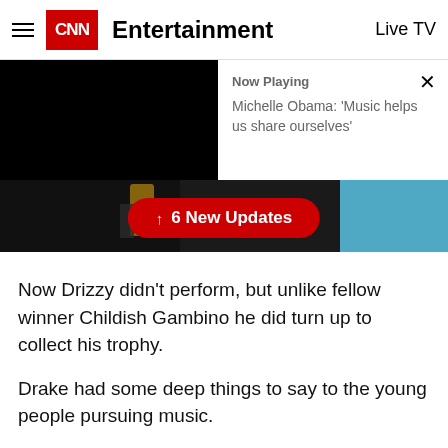CNN Entertainment  Live TV
[Figure (screenshot): CNN video player showing a dark image on the left and a 'Now Playing' panel on the right with text 'Michelle Obama: Music helps us share ourselves'. A red '6 New Updates' button overlays the bottom center. The lower portion shows a person holding a Grammy award trophy against a dark background.]
Now Drizzy didn't perform, but unlike fellow winner Childish Gambino he did turn up to collect his trophy.
Drake had some deep things to say to the young people pursuing music.
That was until the producers cut him off mid-sentence and went to commercial.
Oops!